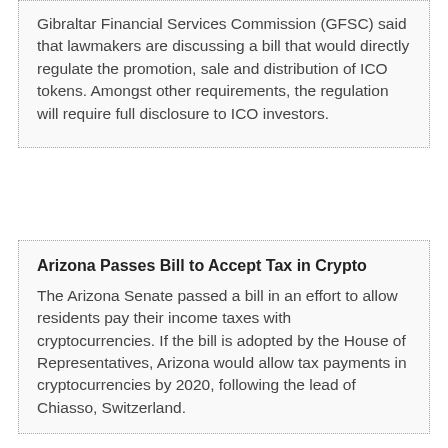Gibraltar Financial Services Commission (GFSC) said that lawmakers are discussing a bill that would directly regulate the promotion, sale and distribution of ICO tokens. Amongst other requirements, the regulation will require full disclosure to ICO investors.
Arizona Passes Bill to Accept Tax in Crypto
The Arizona Senate passed a bill in an effort to allow residents pay their income taxes with cryptocurrencies. If the bill is adopted by the House of Representatives, Arizona would allow tax payments in cryptocurrencies by 2020, following the lead of Chiasso, Switzerland.